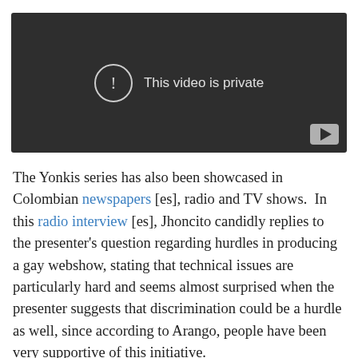[Figure (screenshot): Embedded video player showing 'This video is private' message with a YouTube logo in the bottom right corner. The player has a dark background.]
The Yonkis series has also been showcased in Colombian newspapers [es], radio and TV shows.  In this radio interview [es], Jhoncito candidly replies to the presenter's question regarding hurdles in producing a gay webshow, stating that technical issues are particularly hard and seems almost surprised when the presenter suggests that discrimination could be a hurdle as well, since according to Arango, people have been very supportive of this initiative.
They were also featured in Version Beta, a show on a regional network also available through streaming and fully